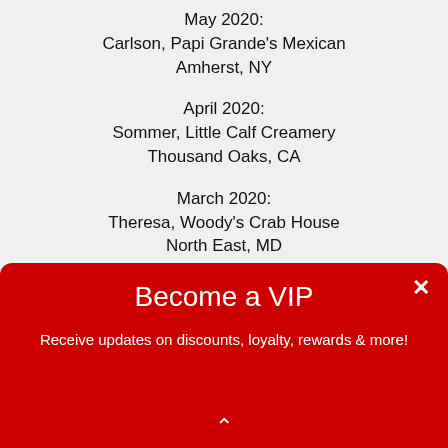May 2020:
Carlson, Papi Grande's Mexican
Amherst, NY
April 2020:
Sommer, Little Calf Creamery
Thousand Oaks, CA
March 2020:
Theresa, Woody's Crab House
North East, MD
Become a VIP
Receive updates on discounts, loyalty, rewards & more!